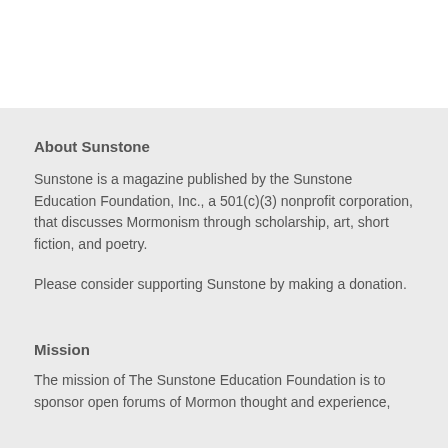About Sunstone
Sunstone is a magazine published by the Sunstone Education Foundation, Inc., a 501(c)(3) nonprofit corporation, that discusses Mormonism through scholarship, art, short fiction, and poetry.
Please consider supporting Sunstone by making a donation.
Mission
The mission of The Sunstone Education Foundation is to sponsor open forums of Mormon thought and experience,